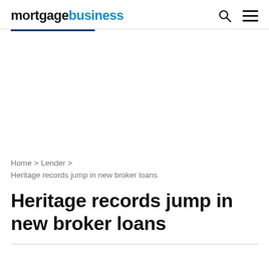mortgagebusiness
Home > Lender > Heritage records jump in new broker loans
Heritage records jump in new broker loans